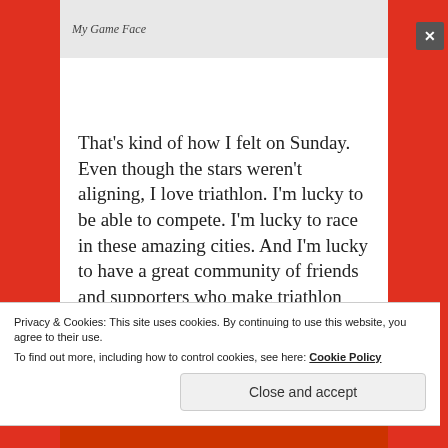[Figure (photo): Image placeholder with italic label 'My Game Face']
That's kind of how I felt on Sunday. Even though the stars weren't aligning, I love triathlon. I'm lucky to be able to compete. I'm lucky to race in these amazing cities. And I'm lucky to have a great community of friends and supporters who make triathlon
Privacy & Cookies: This site uses cookies. By continuing to use this website, you agree to their use.
To find out more, including how to control cookies, see here: Cookie Policy
Close and accept